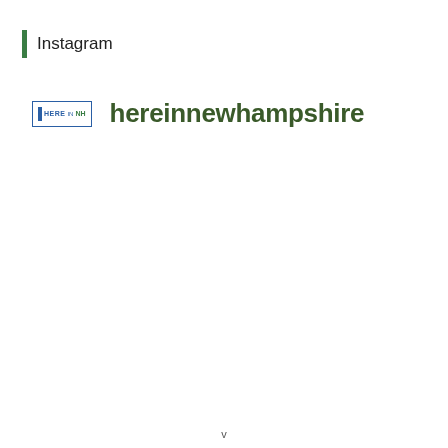Instagram
hereinnewhampshire
v